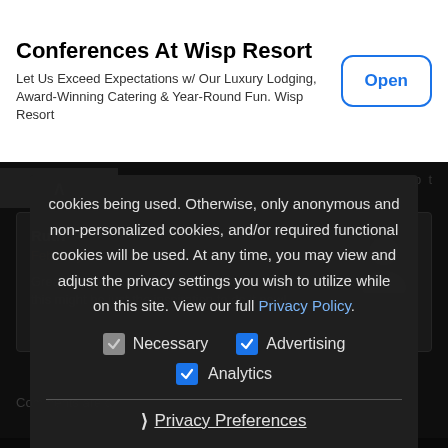[Figure (screenshot): Advertisement banner for Conferences At Wisp Resort with Open button]
Conferences At Wisp Resort
Let Us Exceed Expectations w/ Our Luxury Lodging, Award-Winning Catering & Year-Round Fun. Wisp Resort
cookies being used. Otherwise, only anonymous and non-personalized cookies, and/or required functional cookies will be used. At any time, you may view and adjust the privacy settings you wish to utilize while on this site. View our full Privacy Policy.
Necessary  Advertising  Analytics
❯ Privacy Preferences
I Agree